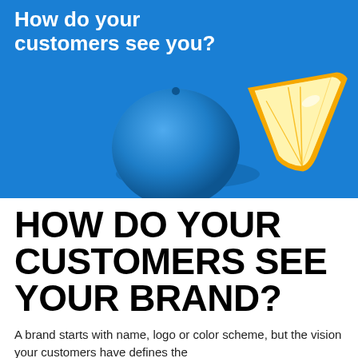[Figure (photo): Blue-painted orange fruit on a bright blue background with a slice of real orange wedge on top, with white bold text overlay reading 'How do your customers see you?']
HOW DO YOUR CUSTOMERS SEE YOUR BRAND?
A brand starts with name, logo or color scheme, but the vision your customers have defines the...